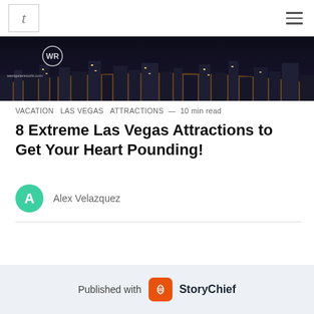t
[Figure (photo): Aerial night view of Las Vegas Strip with bright lights, westgateresorts.com watermark visible]
VACATION   LAS VEGAS   ATTRACTIONS  —  10 min read
8 Extreme Las Vegas Attractions to Get Your Heart Pounding!
Alex Velazquez
Published with StoryChief